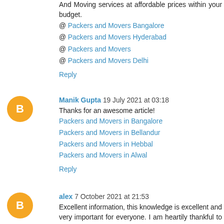And Moving services at affordable prices within your budget.
@ Packers and Movers Bangalore
@ Packers and Movers Hyderabad
@ Packers and Movers
@ Packers and Movers Delhi
Reply
Manik Gupta 19 July 2021 at 03:18
Thanks for an awesome article!
Packers and Movers in Bangalore
Packers and Movers in Bellandur
Packers and Movers in Hebbal
Packers and Movers in Alwal
Reply
alex 7 October 2021 at 21:53
Excellent information, this knowledge is excellent and very important for everyone. I am heartily thankful to you for